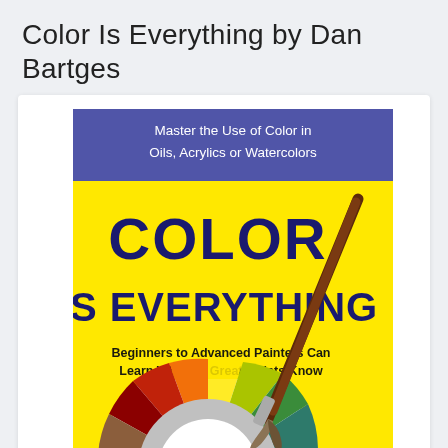Color Is Everything by Dan Bartges
[Figure (photo): Book cover of 'Color Is Everything' by Dan Bartges. The cover has a blue banner at the top with white text reading 'Master the Use of Color in Oils, Acrylics or Watercolors'. The main background is bright yellow. Large dark navy bold text reads 'COLOR IS EVERYTHING'. Below that in smaller bold text: 'Beginners to Advanced Painters Can Learn What All Great Artists Know'. A color wheel is partially visible at the bottom of the cover. A paintbrush diagonally crosses the right side of the cover.]